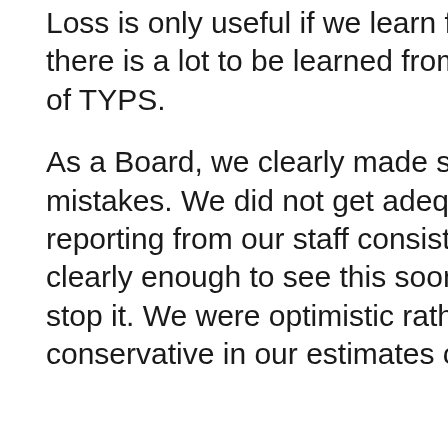Loss is only useful if we learn from it. And there is a lot to be learned from the closure of TYPS.
As a Board, we clearly made some mistakes. We did not get adequate financial reporting from our staff consistently and clearly enough to see this soon enough to stop it. We were optimistic rather than conservative in our estimates of how much